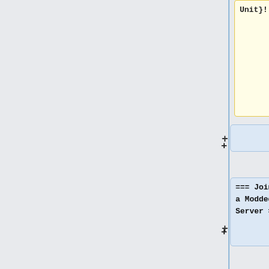Unit}!
s.arma3.com/
|text=
{{arma3}}
Unit}}!
+
=== Joining a Modded Server ===
+
A non-official server may require mods to play. The game itself cannot download the mods and will only